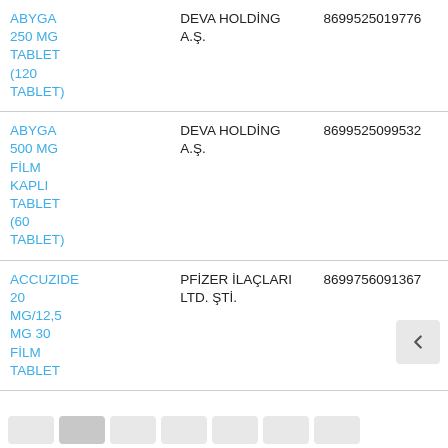| Ürün Adı | Firma | Barkod |
| --- | --- | --- |
| ABYGA 250 MG TABLET (120 TABLET) | DEVA HOLDİNG A.Ş. | 8699525019776 |
| ABYGA 500 MG FİLM KAPLI TABLET (60 TABLET) | DEVA HOLDİNG A.Ş. | 8699525099532 |
| ACCUZIDE 20 MG/12,5 MG 30 FİLM TABLET | PFİZER İLAÇLARI LTD. ŞTİ. | 8699756091367 |